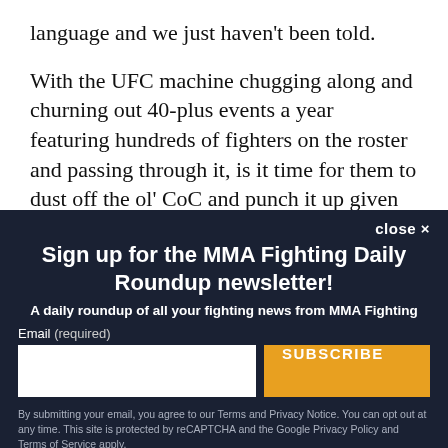language and we just haven't been told.
With the UFC machine chugging along and churning out 40-plus events a year featuring hundreds of fighters on the roster and passing through it, is it time for them to dust off the ol' CoC and punch it up given that the current product is in many ways completely different than it was nine years
close ✕
Sign up for the MMA Fighting Daily Roundup newsletter!
A daily roundup of all your fighting news from MMA Fighting
Email (required)
SUBSCRIBE
By submitting your email, you agree to our Terms and Privacy Notice. You can opt out at any time. This site is protected by reCAPTCHA and the Google Privacy Policy and Terms of Service apply.